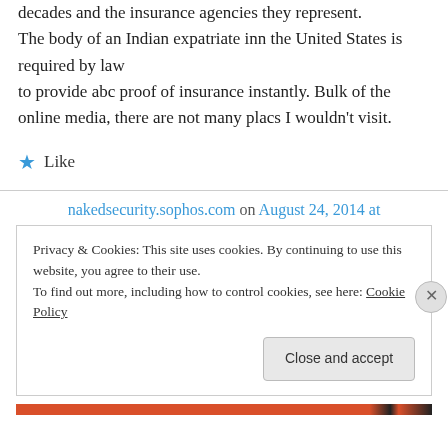decades and the insurance agencies they represent. The body of an Indian expatriate inn the United States is required by law to provide abc proof of insurance instantly. Bulk of the online media, there are not many placs I wouldn't visit.
★ Like
nakedsecurity.sophos.com on August 24, 2014 at
Privacy & Cookies: This site uses cookies. By continuing to use this website, you agree to their use.
To find out more, including how to control cookies, see here: Cookie Policy
Close and accept